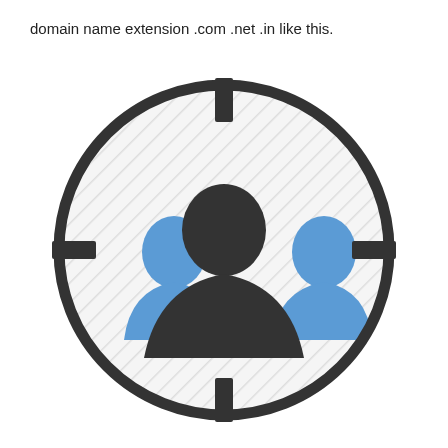domain name extension .com .net .in like this.
[Figure (illustration): A target/crosshair circle icon with three person silhouettes inside — one dark/black figure in the center front and two blue figures on either side behind, set against a light diagonal-striped background within the circle.]